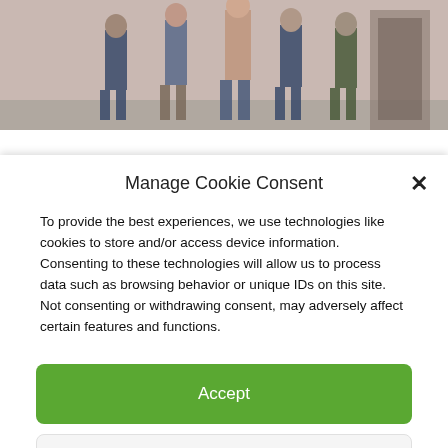[Figure (photo): Group photo of people standing in front of a pinkish wall, partially visible at the top of the page]
Manage Cookie Consent
To provide the best experiences, we use technologies like cookies to store and/or access device information. Consenting to these technologies will allow us to process data such as browsing behavior or unique IDs on this site. Not consenting or withdrawing consent, may adversely affect certain features and functions.
Accept
Deny
View preferences
Cookies Policy